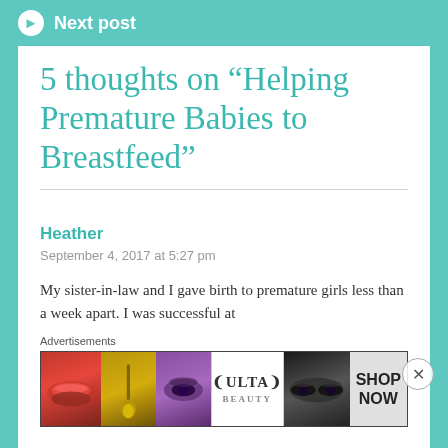Next post
5 thoughts on “Helping Premature Babies to Breastfeed”
Heather
September 4, 2017 at 5:27 pm
My sister-in-law and I gave birth to premature girls less than a week apart. I was successful at
Advertisements
[Figure (photo): ULTA beauty advertisement banner with makeup imagery including lips, brush, eye, ULTA logo, eyes, and SHOP NOW text]